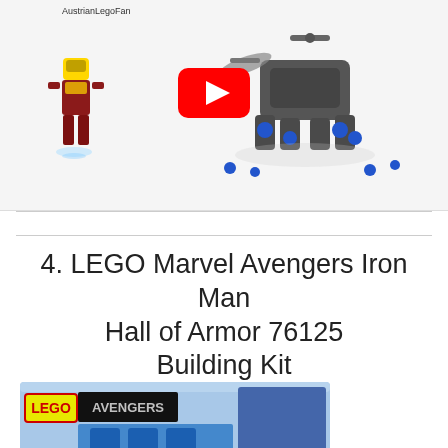[Figure (screenshot): YouTube video thumbnail showing AustrianLegoFan channel with LEGO Iron Man minifigure and a dark mech/drone on a white reflective surface, with red YouTube play button overlay]
4. LEGO Marvel Avengers Iron Man Hall of Armor 76125 Building Kit
[Figure (photo): LEGO Avengers Iron Man Hall of Armor 76125 box showing blue armored suit display with Avengers characters on the box art, rated 7+]